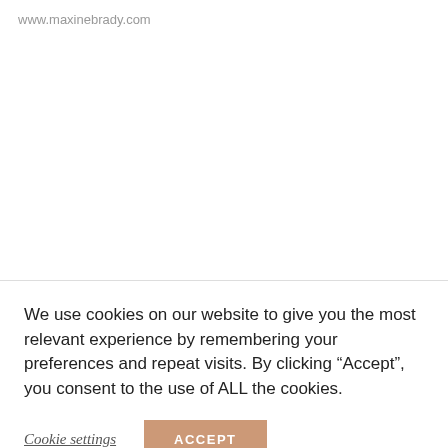www.maxinebrady.com
We use cookies on our website to give you the most relevant experience by remembering your preferences and repeat visits. By clicking “Accept”, you consent to the use of ALL the cookies.
Cookie settings
ACCEPT